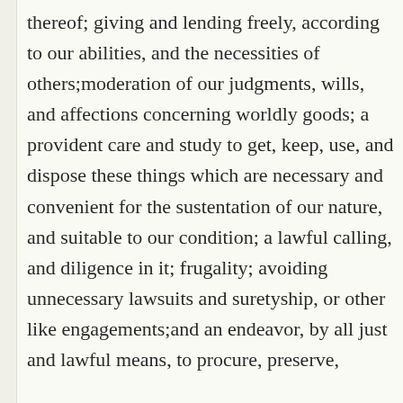thereof; giving and lending freely, according to our abilities, and the necessities of others;moderation of our judgments, wills, and affections concerning worldly goods; a provident care and study to get, keep, use, and dispose these things which are necessary and convenient for the sustentation of our nature, and suitable to our condition; a lawful calling, and diligence in it; frugality; avoiding unnecessary lawsuits and suretyship, or other like engagements;and an endeavor, by all just and lawful means, to procure, preserve,